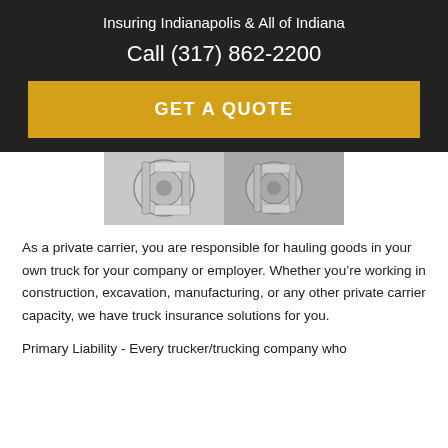Insuring Indianapolis & All of Indiana
Call (317) 862-2200
GET A QUOTE
[Figure (photo): Close-up photo of truck/industrial machinery components, white metal parts visible]
As a private carrier, you are responsible for hauling goods in your own truck for your company or employer. Whether you’re working in construction, excavation, manufacturing, or any other private carrier capacity, we have truck insurance solutions for you.
Primary Liability - Every trucker/trucking company who